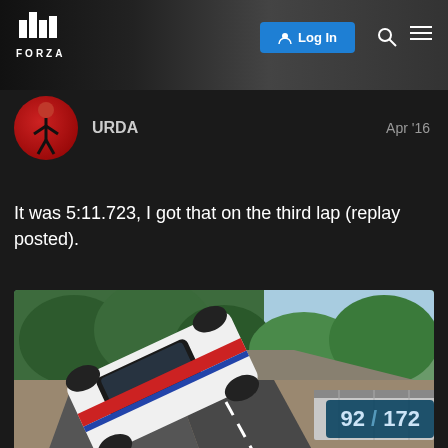[Figure (screenshot): Forza website header with logo, Log In button, search and menu icons]
URDA	Apr '16
It was 5:11.723, I got that on the third lap (replay posted).
[Figure (screenshot): Forza Motorsport in-game screenshot showing a white race car on a track with trees and barriers]
[Figure (screenshot): Partial second in-game screenshot showing the front of a white car against blue sky]
92 / 172